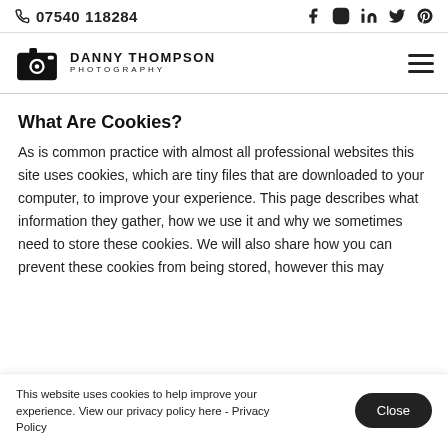07540 118284
[Figure (logo): Danny Thompson Photography logo with camera icon and text]
What Are Cookies?
As is common practice with almost all professional websites this site uses cookies, which are tiny files that are downloaded to your computer, to improve your experience. This page describes what information they gather, how we use it and why we sometimes need to store these cookies. We will also share how you can prevent these cookies from being stored, however this may
This website uses cookies to help improve your experience. View our privacy policy here - Privacy Policy